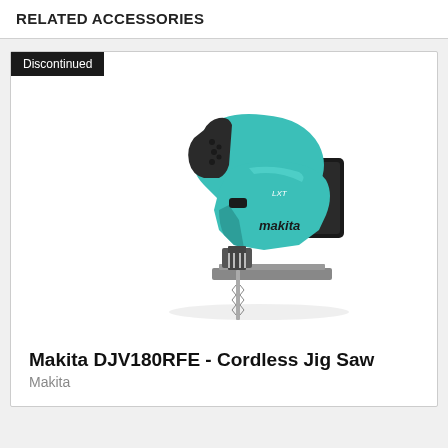RELATED ACCESSORIES
Discontinued
[Figure (photo): Makita DJV180RFE cordless jig saw in teal/turquoise color with black grip, LXT battery attached on the right side, jigsaw blade visible at bottom, shot on white background.]
Makita DJV180RFE - Cordless Jig Saw
Makita